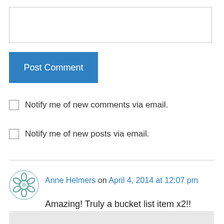[Figure (screenshot): Empty text input box for comment entry]
Post Comment
Notify me of new comments via email.
Notify me of new posts via email.
Anne Helmers on April 4, 2014 at 12:07 pm
Amazing! Truly a bucket list item x2!!
Like
Reply